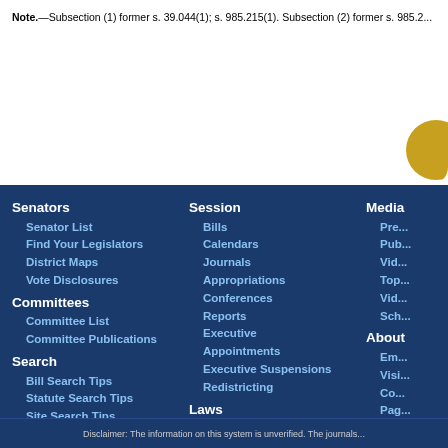Note.—Subsection (1) former s. 39.044(1); s. 985.215(1). Subsection (2) former s. 985.2...
Senators
Senator List
Find Your Legislators
District Maps
Vote Disclosures
Committees
Committee List
Committee Publications
Search
Bill Search Tips
Statute Search Tips
Site Search Tips
Session
Bills
Calendars
Journals
Appropriations
Conferences
Reports
Executive Appointments
Executive Suspensions
Redistricting
Laws
Statutes
Constitution
Laws of Florida
Order - Legistore
Media
Pre...
Pub...
Vid...
Top...
Vid...
Sch...
About
Em...
Visi...
Co...
Pag...
Disclaimer: The information on this system is unverified. The journals...